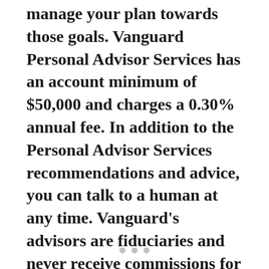manage your plan towards those goals. Vanguard Personal Advisor Services has an account minimum of $50,000 and charges a 0.30% annual fee. In addition to the Personal Advisor Services recommendations and advice, you can talk to a human at any time. Vanguard's advisors are fiduciaries and never receive commissions for the recommendations that they make.